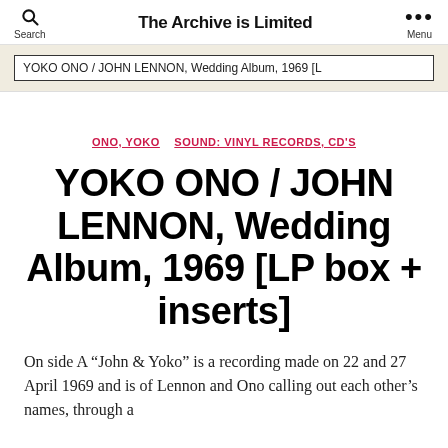Search | The Archive is Limited | Menu
YOKO ONO / JOHN LENNON, Wedding Album, 1969 [L
ONO, YOKO
SOUND: VINYL RECORDS, CD'S
YOKO ONO / JOHN LENNON, Wedding Album, 1969 [LP box + inserts]
On side A “John & Yoko” is a recording made on 22 and 27 April 1969 and is of Lennon and Ono calling out each other’s names, through a